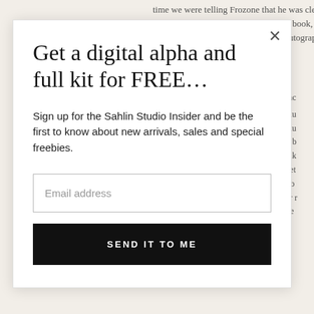time we were telling Frozone that he was clearly the "co... Mr. Incredible wrote in my autograph book, "But I'm incre... to draw extra little things in custom autograph books, es...
Get a digital alpha and full kit for FREE…
Sign up for the Sahlin Studio Insider and be the first to know about new arrivals, sales and special freebies.
Email address
SEND IT TO ME